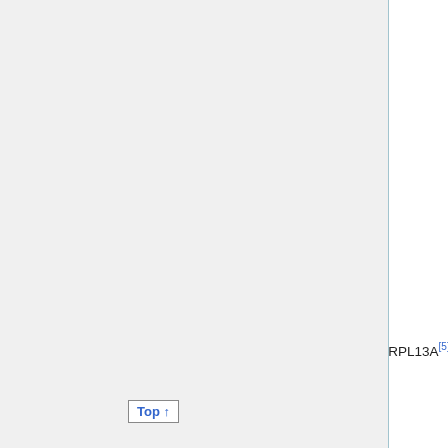| Gene | Protein | Findings |
| --- | --- | --- |
| RPL13A[5] | Ribosomal protein L13a | Health Organization grades II-I
Glioma compared with normal brain and anaplastic astrocytoma or glioblastoma
Tumor tissues and normal samples were from patients undergoing surgery. |
|  |  | Glioma of different |
Top ↑